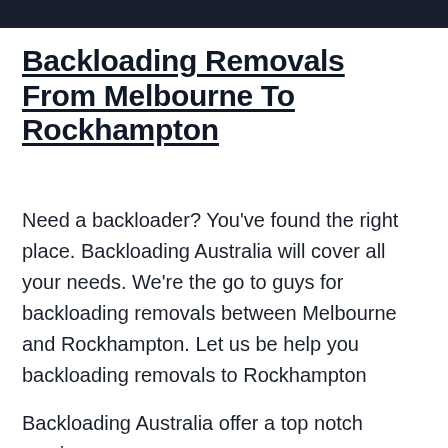[Figure (other): Dark navigation bar at the top of the page]
Backloading Removals From Melbourne To Rockhampton
Need a backloader? You've found the right place. Backloading Australia will cover all your needs. We're the go to guys for backloading removals between Melbourne and Rockhampton. Let us be help you backloading removals to Rockhampton
Backloading Australia offer a top notch service